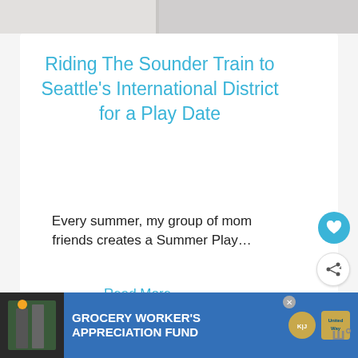[Figure (photo): Top strip of a photo, appears to be a ceiling or indoor surface]
Riding The Sounder Train to Seattle’s International District for a Play Date
Every summer, my group of mom friends creates a Summer Play…
Read More
[Figure (photo): What's Next thumbnail - trees or fence spikes image with label '12 of the Best Spooky...']
[Figure (photo): Bottom advertisement bar: Grocery Worker's Appreciation Fund with Kendall-Jackson and United Way logos]